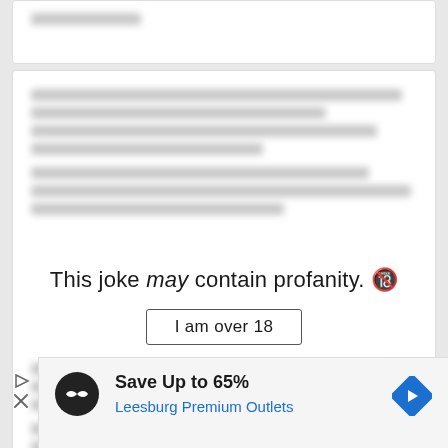[Figure (screenshot): Partial top card with blurred/redacted content]
This joke may contain profanity. 🔞
I am over 18
[Figure (screenshot): Advertisement banner: Save Up to 65% Leesburg Premium Outlets]